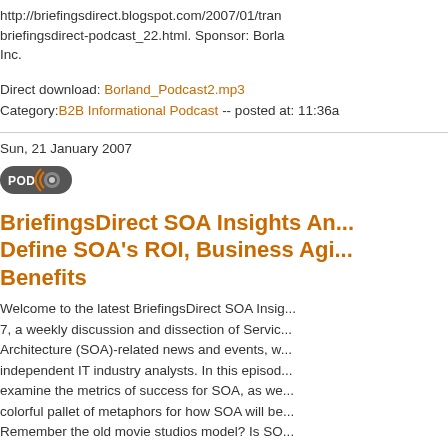http://briefingsdirect.blogspot.com/2007/01/tran briefingsdirect-podcast_22.html. Sponsor: Borla Inc.
Direct download: Borland_Podcast2.mp3 Category:B2B Informational Podcast -- posted at: 11:36a
Sun, 21 January 2007
[Figure (logo): POD podcast icon button with orange radio wave graphic]
BriefingsDirect SOA Insights An... Define SOA's ROI, Business Agi... Benefits
Welcome to the latest BriefingsDirect SOA Insig... 7, a weekly discussion and dissection of Servic... Architecture (SOA)-related news and events, w... independent IT industry analysts. In this episod... examine the metrics of success for SOA, as we... colorful pallet of metaphors for how SOA will be... Remember the old movie studios model? Is SO... model or Miramax? Does SOA offer reuse for "p... intellectual property of services becomes the fo... Garone, Joe McKendrick, Tony Baer and Jim K... discussion, hosted and moderated by Dana Ga... to read a full transcript of the discussion at